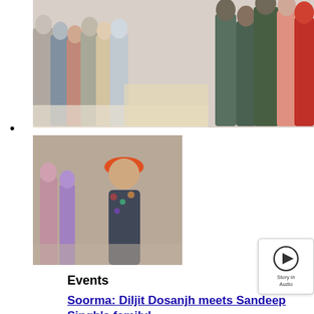[Figure (photo): Group photo of several people standing together indoors, including someone in an orange top]
•
[Figure (photo): Man wearing an orange turban and floral shirt with people around him indoors]
[Figure (other): Play button icon with 'Story in Audio' text]
Events
Soorma: Diljit Dosanjh meets Sandeep Singh's family!
By Puneet RawtaniJuly 9, 2018
Diljit Dosanjh will be seen in the upcoming movie Soorma which is a biopic on the...
[Figure (photo): Bottom of page photo, partial view]